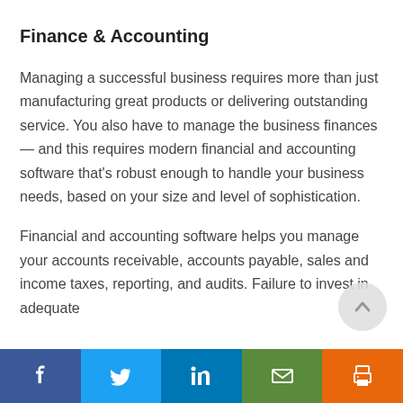Finance & Accounting
Managing a successful business requires more than just manufacturing great products or delivering outstanding service. You also have to manage the business finances — and this requires modern financial and accounting software that's robust enough to handle your business needs, based on your size and level of sophistication.
Financial and accounting software helps you manage your accounts receivable, accounts payable, sales and income taxes, reporting, and audits. Failure to invest in adequate
[Figure (other): Scroll-to-top circular button with upward arrow]
Social share bar with Facebook, Twitter, LinkedIn, Email, and Print icons